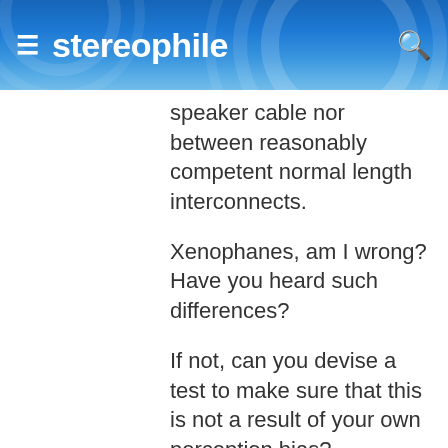stereophile
speaker cable nor between reasonably competent normal length interconnects.
Xenophanes, am I wrong? Have you heard such differences?
If not, can you devise a test to make sure that this is not a result of your own perception bias?
Thus, I trust Xenophanes when he states (or will state) he does